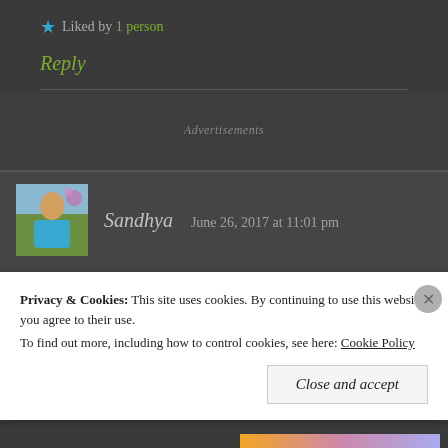★ Liked by 1 person
Reply
Advertisements
Sandhya   June 26, 2017 at 11:01 pm
Nice post and photos Meena. I admired how you all
Privacy & Cookies: This site uses cookies. By continuing to use this website, you agree to their use. To find out more, including how to control cookies, see here: Cookie Policy
Close and accept